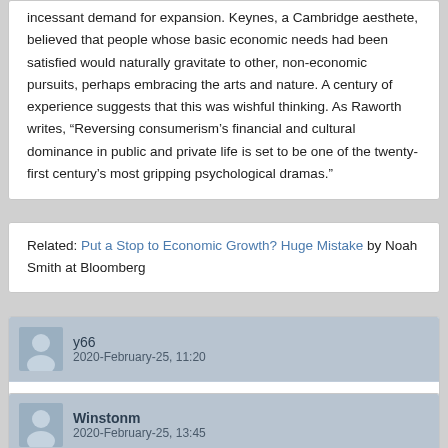incessant demand for expansion. Keynes, a Cambridge aesthete, believed that people whose basic economic needs had been satisfied would naturally gravitate to other, non-economic pursuits, perhaps embracing the arts and nature. A century of experience suggests that this was wishful thinking. As Raworth writes, “Reversing consumerism’s financial and cultural dominance in public and private life is set to be one of the twenty-first century’s most gripping psychological dramas.”
Related: Put a Stop to Economic Growth? Huge Mistake by Noah Smith at Bloomberg
y66
2020-February-25, 11:20
How Technology Is Changing the Future of Higher Education by Jon Marcus at NYT.

How do you say good stuff in Mandarin?
Winstonm
2020-February-25, 13:45